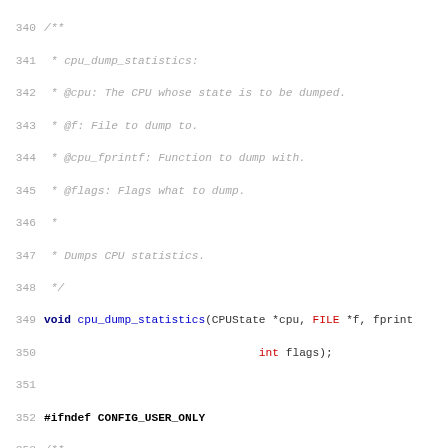[Figure (screenshot): Source code listing showing C code for cpu_dump_statistics and cpu_get_phys_page_debug functions, lines 340-371, with syntax highlighting: keywords in dark blue bold, comments in gray italic, function names in blue, types in red.]